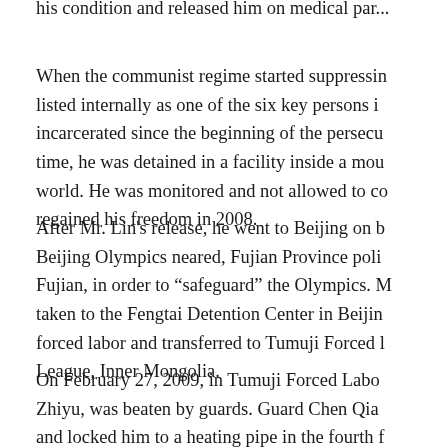his condition and released him on medical par...
When the communist regime started suppressin... listed internally as one of the six key persons i... incarcerated since the beginning of the persecu... time, he was detained in a facility inside a mou... world. He was monitored and not allowed to co... regained his freedom in 2008.
After Mr. Lin's release, he went to Beijing on b... Beijing Olympics neared, Fujian Province poli... Fujian, in order to “safeguard” the Olympics. M... taken to the Fengtai Detention Center in Beijin... forced labor and transferred to Tumuji Forced l... League, Inner Mongolia.
On February 27, 2009, in Tumuji Forced Labo... Zhiyu, was beaten by guards. Guard Chen Qia... and locked him to a heating pipe in the fourth f...